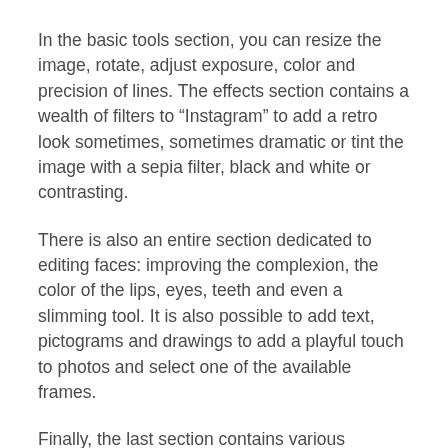In the basic tools section, you can resize the image, rotate, adjust exposure, color and precision of lines. The effects section contains a wealth of filters to “Instagram” to add a retro look sometimes, sometimes dramatic or tint the image with a sepia filter, black and white or contrasting.
There is also an entire section dedicated to editing faces: improving the complexion, the color of the lips, eyes, teeth and even a slimming tool. It is also possible to add text, pictograms and drawings to add a playful touch to photos and select one of the available frames.
Finally, the last section contains various textures are added to the scene or background is applied directly to the subject in the foreground. The edited images can be saved on the workstation in .jpg or .png with a choice of 3 different resolutions.